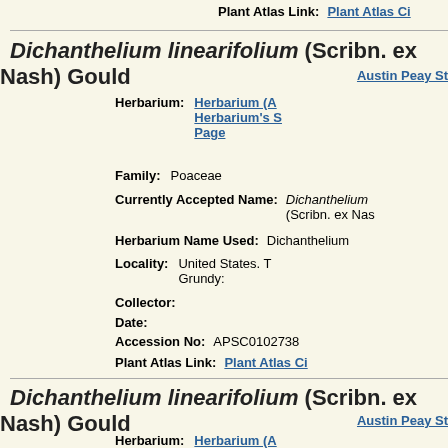Plant Atlas Link:
Plant Atlas Ci...
Dichanthelium linearifolium (Scribn. ex Nash) Gould
Austin Peay St...
Herbarium:
Herbarium (A... Herbarium's S... Page
Family:
Poaceae
Currently Accepted Name:
Dichanthelium (Scribn. ex Nas...
Herbarium Name Used:
Dichanthelium...
Locality:
United States. T... Grundy:
Collector:
Date:
Accession No:
APSC0102738
Plant Atlas Link:
Plant Atlas Ci...
Dichanthelium linearifolium (Scribn. ex Nash) Gould
Austin Peay St...
Herbarium:
Herbarium (A... Herbarium's S...